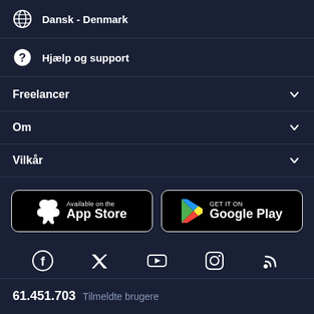Dansk - Denmark
Hjælp og support
Freelancer
Om
Vilkår
[Figure (screenshot): App Store and Google Play badges]
[Figure (infographic): Social media icons: Facebook, Twitter, YouTube, Instagram, RSS]
61.451.703 Tilmeldte brugere